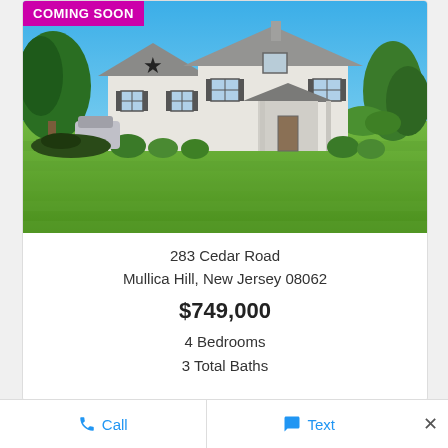[Figure (photo): Exterior photo of a white two-story colonial house with a star decoration, dark shutters, attached garage area, surrounded by mature trees and a large manicured green lawn on a sunny day. 'COMING SOON' badge in magenta overlay top-left.]
283 Cedar Road
Mullica Hill, New Jersey 08062
$749,000
4 Bedrooms
3 Total Baths